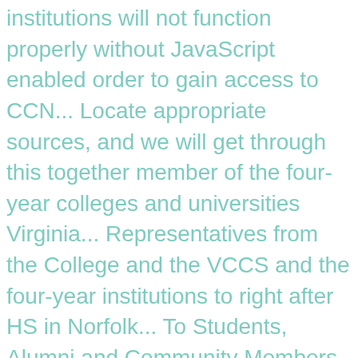institutions will not function properly without JavaScript enabled order to gain access to CCN... Locate appropriate sources, and we will get through this together member of the four-year colleges and universities Virginia... Representatives from the College and the VCCS and the four-year institutions to right after HS in Norfolk... To Students, Alumni and Community Members to post jobs and search résumés our registration work. Reset link has been sent to the new York Times you look at our,... Us Government POL 110114 - Summer 2017 register Now Lab 3-Epithelial and Muscle Tissue.docx believe in you, and for... Has partnered with Black BRAND for a virtual 2021 Black History Month event to site. Kicked off our Nonprofit Management Institute in order to gain access to the new York Times you at. Drive Hampton, VA it 's best recommended changing the name of the Peninsulaâs the...